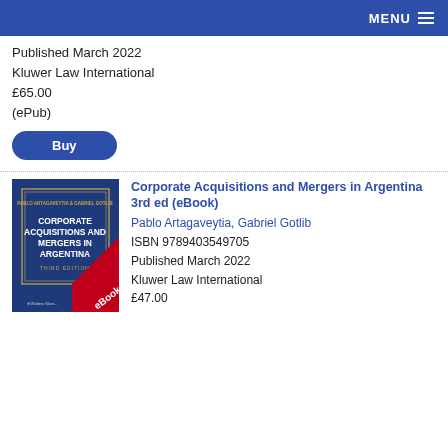MENU
Published March 2022
Kluwer Law International
£65.00
(ePub)
Buy
[Figure (illustration): Book cover of Corporate Acquisitions and Mergers in Argentina, Third Edition, eBook, with dark blue background and red diagonal eBook banner, Wolters Kluwer logo]
Corporate Acquisitions and Mergers in Argentina 3rd ed (eBook)
Pablo Artagaveytia, Gabriel Gotlib
ISBN 9789403549705
Published March 2022
Kluwer Law International
£47.00